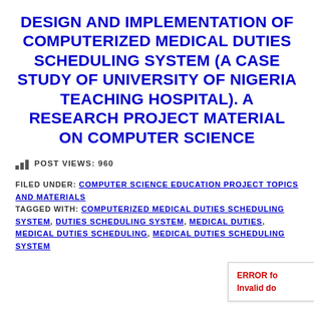DESIGN AND IMPLEMENTATION OF COMPUTERIZED MEDICAL DUTIES SCHEDULING SYSTEM (A CASE STUDY OF UNIVERSITY OF NIGERIA TEACHING HOSPITAL). A RESEARCH PROJECT MATERIAL ON COMPUTER SCIENCE
POST VIEWS: 960
FILED UNDER: COMPUTER SCIENCE EDUCATION PROJECT TOPICS AND MATERIALS
TAGGED WITH: COMPUTERIZED MEDICAL DUTIES SCHEDULING SYSTEM, DUTIES SCHEDULING SYSTEM, MEDICAL DUTIES, MEDICAL DUTIES SCHEDULING, MEDICAL DUTIES SCHEDULING SYSTEM